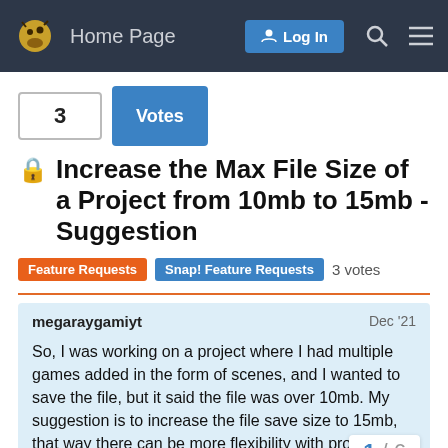Home Page | Log In
3  Votes
🔒 Increase the Max File Size of a Project from 10mb to 15mb - Suggestion
Feature Requests  Snap! Feature Requests  3 votes
megaraygamiyt  Dec '21
So, I was working on a project where I had multiple games added in the form of scenes, and I wanted to save the file, but it said the file was over 10mb. My suggestion is to increase the file save size to 15mb, that way there can be more flexibility with projects.
If increasing every project size limit is too m...
1 / 6